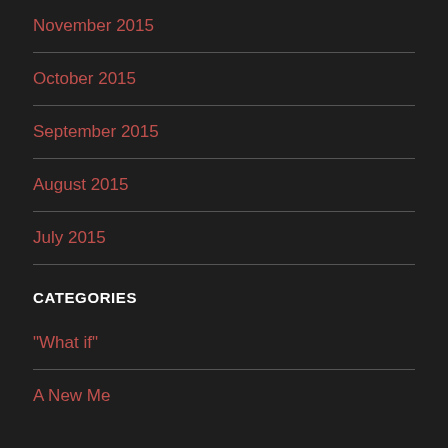November 2015
October 2015
September 2015
August 2015
July 2015
CATEGORIES
"What if"
A New Me